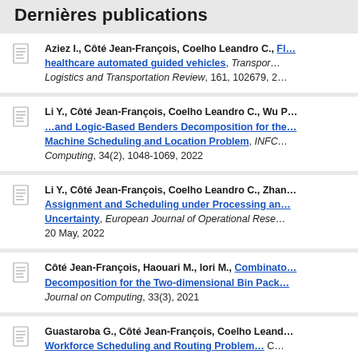Dernières publications
Aziez I., Côté Jean-François, Coelho Leandro C., [link: Fl... healthcare automated guided vehicles], Transportation ... Logistics and Transportation Review, 161, 102679, 2...
Li Y., Côté Jean-François, Coelho Leandro C., Wu P... [link: ...and Logic-Based Benders Decomposition for the... Machine Scheduling and Location Problem], INCO... Computing, 34(2), 1048-1069, 2022
Li Y., Côté Jean-François, Coelho Leandro C., Zhan... [link: Assignment and Scheduling under Processing a... Uncertainty], European Journal of Operational Rese... 20 May, 2022
Côté Jean-François, Haouari M., Iori M., [link: Combinato... Decomposition for the Two-dimensional Bin Pack...], Journal on Computing, 33(3), 2021
Guastaroba G., Côté Jean-François, Coelho Leand... [link: Workforce Scheduling and Routing Problem...] ...